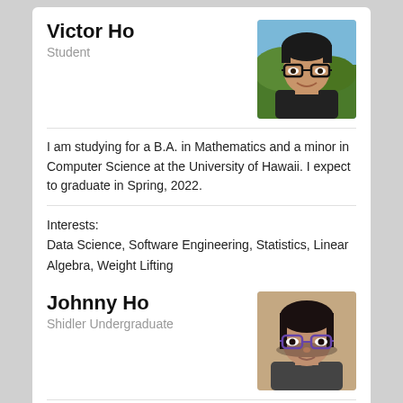Victor Ho
Student
[Figure (photo): Portrait photo of Victor Ho, a young man with glasses outdoors]
I am studying for a B.A. in Mathematics and a minor in Computer Science at the University of Hawaii. I expect to graduate in Spring, 2022.
Interests:
Data Science, Software Engineering, Statistics, Linear Algebra, Weight Lifting
See portfolio
Johnny Ho
Shidler Undergraduate
[Figure (photo): Portrait photo of Johnny Ho, a young person with glasses]
I am majoring in Management Information Systems at the